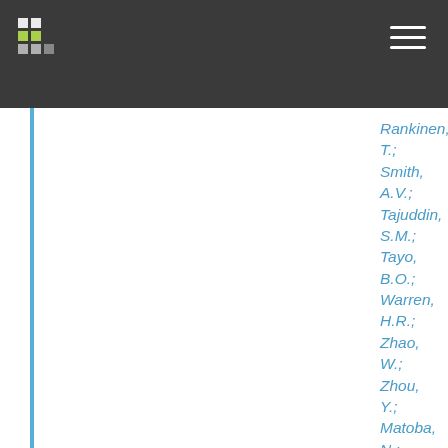Navigation bar with logo and menu
Rankinen, T.; Smith, A.V.; Tajuddin, S.M.; Tayo, B.O.; Warren, H.R.; Zhao, W.; Zhou, Y.; Matoba, N.; Sofer, T.; Alver, M.; Amini, M.; Boissel, M.; Chai, J.F.; Chen, X.; Divers, J.; Gandin, I.; Gao, C.; Giulianini, F.; Goel, A.; Harris, S.E.; Hatwig, F.P.; Horimoto, A.R.V.R.; Hsu, F.C.; Jackson, A.U.; Kahonen, M.; Kasturiratne, A.; Kuhnel, B.; Leander, K.; Lee, W.J.; Lin, K.H.; an Luan, J.; McKenzie, C.A.;